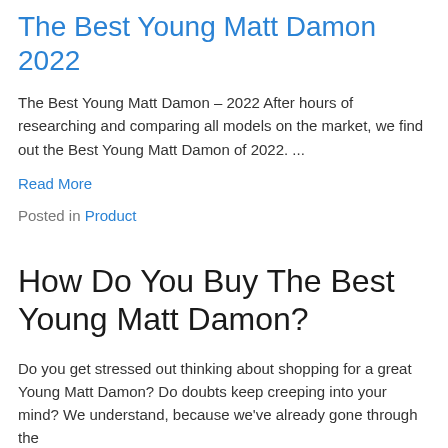The Best Young Matt Damon 2022
The Best Young Matt Damon – 2022 After hours of researching and comparing all models on the market, we find out the Best Young Matt Damon of 2022. ...
Read More
Posted in Product
How Do You Buy The Best Young Matt Damon?
Do you get stressed out thinking about shopping for a great Young Matt Damon? Do doubts keep creeping into your mind? We understand, because we've already gone through the whole process of researching...